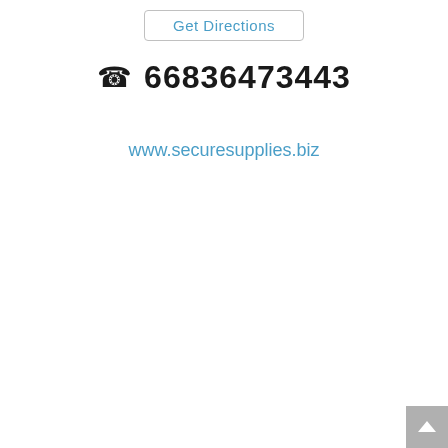Get Directions
📞 66836473443
www.securesupplies.biz